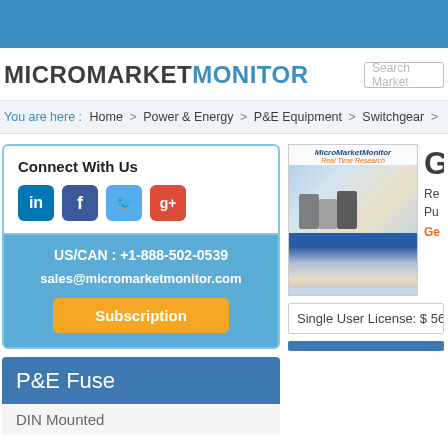[Figure (logo): MicroMarketMonitor logo with search box]
You are here : Home > Power & Energy > P&E Equipment > Switchgear >
Connect With Us
US/CAN : +1-888-502-0539
sales@micromarketmonitor.com
Subscription
[Figure (photo): MicroMarketMonitor Real Time Research report cover showing business people and desk with charts]
G
Re
Pu
Ge
Single User License: $ 5650
P&E Fuse
DIN Mounted